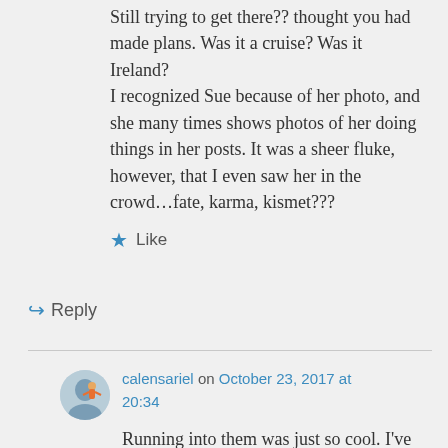Still trying to get there?? thought you had made plans. Was it a cruise? Was it Ireland?
I recognized Sue because of her photo, and she many times shows photos of her doing things in her posts. It was a sheer fluke, however, that I even saw her in the crowd…fate, karma, kismet???
Like
Reply
calensariel on October 23, 2017 at 20:34
Running into them was just so cool. I've met a lot of epals, too, over the